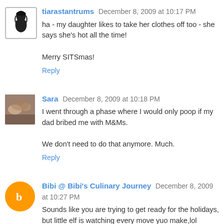tiarastantrums December 8, 2009 at 10:17 PM
ha - my daughter likes to take her clothes off too - she says she's hot all the time!

Merry SITSmas!
Reply
Sara December 8, 2009 at 10:18 PM
I went through a phase where I would only poop if my dad bribed me with M&Ms.

We don't need to do that anymore. Much.
Reply
Bibi @ Bibi's Culinary Journey December 8, 2009 at 10:27 PM
Sounds like you are trying to get ready for the holidays, but little elf is watching every move yuo make,lol